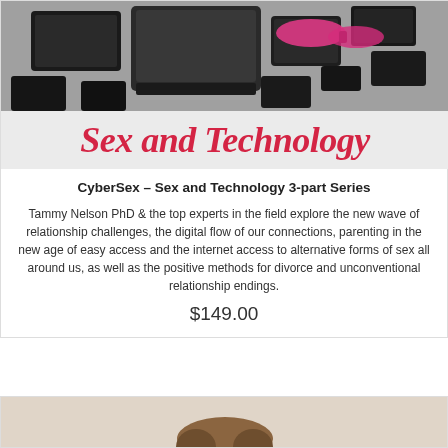[Figure (photo): Photo of multiple electronic devices (laptops, tablets, smartphones) on a flat surface with a pink item (sunglasses/accessory), overlaid with bold red italic text 'Sex and Technology' on a light gray background]
CyberSex – Sex and Technology 3-part Series
Tammy Nelson PhD & the top experts in the field explore the new wave of relationship challenges, the digital flow of our connections, parenting in the new age of easy access and the internet access to alternative forms of sex all around us, as well as the positive methods for divorce and unconventional relationship endings.
$149.00
[Figure (photo): Partial view of a person's head/hair at the bottom of the page, beginning of a second product card]